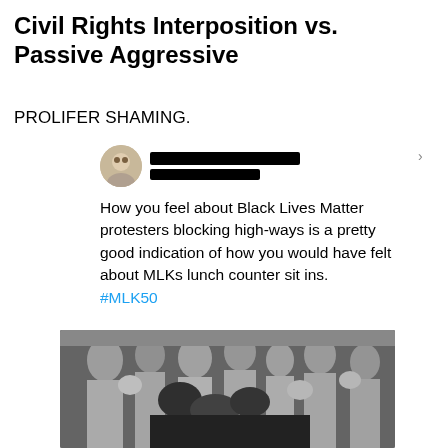Civil Rights Interposition vs. Passive Aggressive
PROLIFER SHAMING.
[Figure (screenshot): Screenshot of a social media post (Twitter) with avatar and username redacted in black. Tweet text reads: 'How you feel about Black Lives Matter protesters blocking highways is a pretty good indication of how you would have felt about MLKs lunch counter sit ins. #MLK50']
[Figure (photo): Black and white historical photograph showing a crowd of people, appearing to depict a civil rights lunch counter sit-in confrontation.]